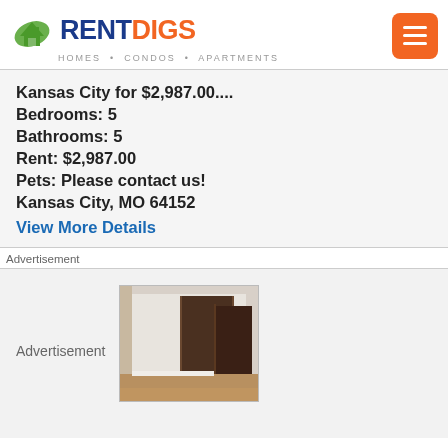[Figure (logo): RentDigs logo with house icon, blue RENT and orange DIGS text, tagline HOMES · CONDOS · APARTMENTS]
Kansas City for $2,987.00....
Bedrooms: 5
Bathrooms: 5
Rent: $2,987.00
Pets: Please contact us!
Kansas City, MO 64152
View More Details
Advertisement
Advertisement
[Figure (photo): Interior room photo showing white walls, a dark door, and hardwood floor]